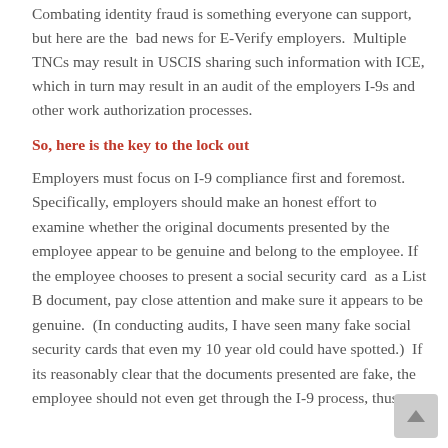Combating identity fraud is something everyone can support, but here are the bad news for E-Verify employers. Multiple TNCs may result in USCIS sharing such information with ICE, which in turn may result in an audit of the employers I-9s and other work authorization processes.
So, here is the key to the lock out
Employers must focus on I-9 compliance first and foremost. Specifically, employers should make an honest effort to examine whether the original documents presented by the employee appear to be genuine and belong to the employee. If the employee chooses to present a social security card as a List B document, pay close attention and make sure it appears to be genuine. (In conducting audits, I have seen many fake social security cards that even my 10 year old could have spotted.) If its reasonably clear that the documents presented are fake, the employee should not even get through the I-9 process, thus